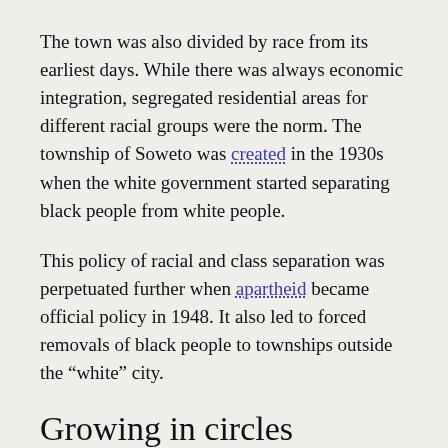The town was also divided by race from its earliest days. While there was always economic integration, segregated residential areas for different racial groups were the norm. The township of Soweto was created in the 1930s when the white government started separating black people from white people.
This policy of racial and class separation was perpetuated further when apartheid became official policy in 1948. It also led to forced removals of black people to townships outside the "white" city.
Growing in circles
Johannesburg has always grown in concentric circles. Municipal boundaries were periodically extended, mapped and basic services of water, sewerage, lighting, tramways financed by an increasing number of ratepayers brought